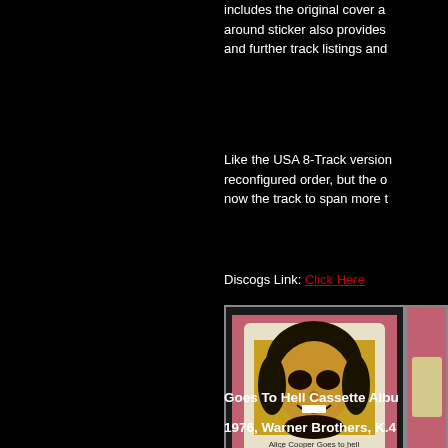includes the original cover a... around sticker also provides and further track listings and
Like the USA 8-Track version reconfigured order, but the o... now the track to span more t...
Discogs Link: Click Here
[Figure (photo): Photo of an Alice Cooper Goes to Hell 8-track tape cartridge, white plastic with album artwork showing Alice Cooper's face on yellow/orange background, text reads 'Alice Cooper Goes to hell']
Goes To Hell Cassette Albu...
1976, Warner Brothers, K.4...